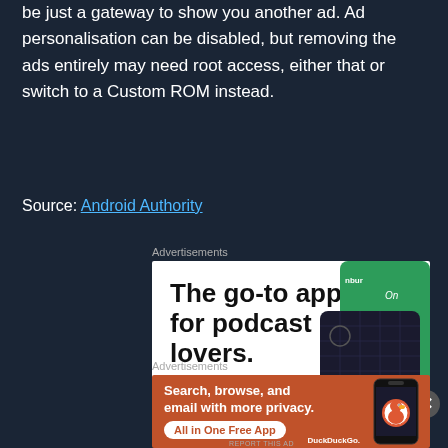be just a gateway to show you another ad. Ad personalisation can be disabled, but removing the ads entirely may need root access, either that or switch to a Custom ROM instead.
Source: Android Authority
Advertisements
[Figure (screenshot): Advertisement for a podcast app. Shows bold text: 'The go-to app for podcast lovers.' with 'Download now' in red below, and a dark phone/card device image on the right.]
Advertisements
[Figure (screenshot): DuckDuckGo advertisement on orange background. Text: 'Search, browse, and email with more privacy. All in One Free App' with DuckDuckGo logo and phone image on right.]